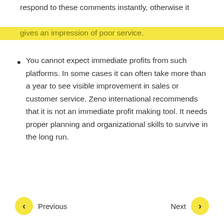respond to these comments instantly, otherwise it gives an impression of poor service.
You cannot expect immediate profits from such platforms. In some cases it can often take more than a year to see visible improvement in sales or customer service. Zeno international recommends that it is not an immediate profit making tool. It needs proper planning and organizational skills to survive in the long run.
Previous | Next